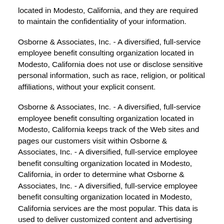located in Modesto, California, and they are required to maintain the confidentiality of your information.
Osborne & Associates, Inc. - A diversified, full-service employee benefit consulting organization located in Modesto, California does not use or disclose sensitive personal information, such as race, religion, or political affiliations, without your explicit consent.
Osborne & Associates, Inc. - A diversified, full-service employee benefit consulting organization located in Modesto, California keeps track of the Web sites and pages our customers visit within Osborne & Associates, Inc. - A diversified, full-service employee benefit consulting organization located in Modesto, California, in order to determine what Osborne & Associates, Inc. - A diversified, full-service employee benefit consulting organization located in Modesto, California services are the most popular. This data is used to deliver customized content and advertising within Osborne & Associates, Inc. - A diversified, full-service employee benefit consulting organization located in Modesto, California to customers whose behavior indicates that they are interested in a particular subject area.
Osborne & Associates, Inc. - A diversified, full-service employee